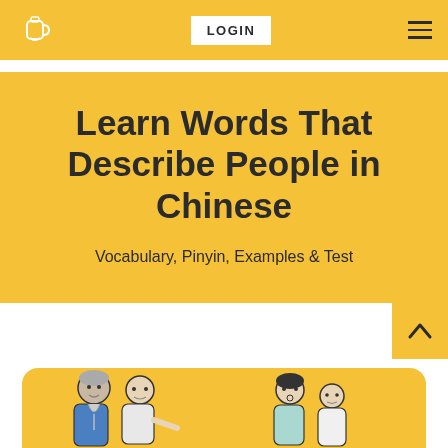[Figure (logo): Website logo: a stylized mug/head icon in white outline on gold background]
LOGIN
Learn Words That Describe People in Chinese
Vocabulary, Pinyin, Examples & Test
[Figure (illustration): Two pairs of illustrated characters: left side shows an elderly man with long beard and a younger man; right side shows a girl and a younger child, drawn in simple line-art style on a gold background card.]